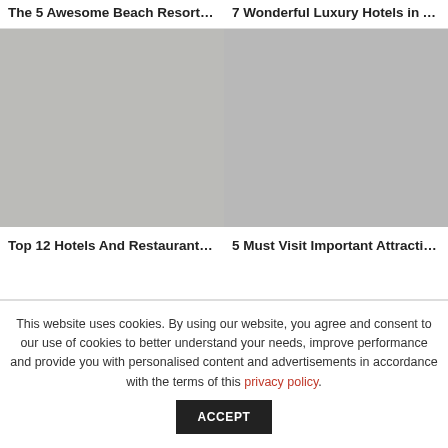The 5 Awesome Beach Resorts In S...
7 Wonderful Luxury Hotels in Antig...
[Figure (photo): Image placeholder for beach resorts article (left column, large)]
[Figure (photo): Image placeholder for luxury hotels article (right column, large)]
Top 12 Hotels And Restaurants In A...
5 Must Visit Important Attractions ...
This website uses cookies. By using our website, you agree and consent to our use of cookies to better understand your needs, improve performance and provide you with personalised content and advertisements in accordance with the terms of this privacy policy.
ACCEPT